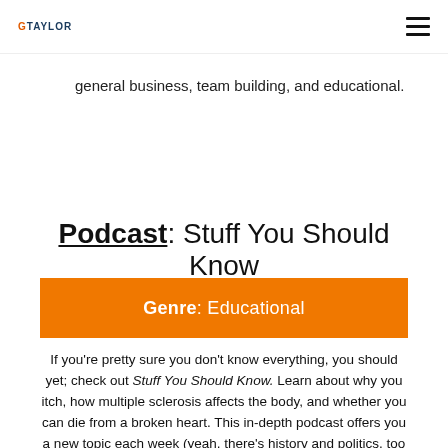GTAYLOR
general business, team building, and educational.
Podcast: Stuff You Should Know
Genre: Educational
If you're pretty sure you don't know everything, you should yet; check out Stuff You Should Know. Learn about why you itch, how multiple sclerosis affects the body, and whether you can die from a broken heart. This in-depth podcast offers you a new topic each week (yeah, there's history and politics, too—no topic is off-limits), so keep listening to find out more about what